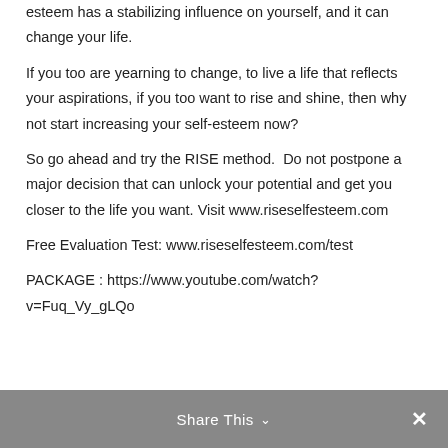esteem has a stabilizing influence on yourself, and it can change your life.
If you too are yearning to change, to live a life that reflects your aspirations, if you too want to rise and shine, then why not start increasing your self-esteem now?
So go ahead and try the RISE method.  Do not postpone a major decision that can unlock your potential and get you closer to the life you want. Visit www.riseselfesteem.com
Free Evaluation Test: www.riseselfesteem.com/test
PACKAGE : https://www.youtube.com/watch?v=Fuq_Vy_gLQo
Share This